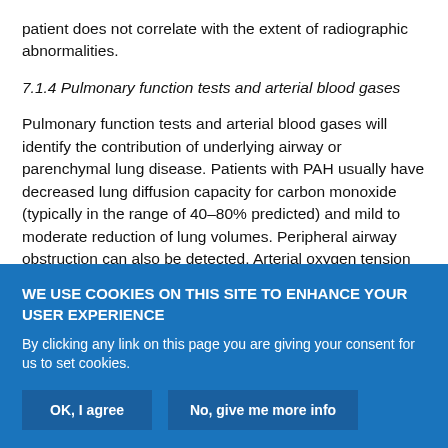patient does not correlate with the extent of radiographic abnormalities.
7.1.4 Pulmonary function tests and arterial blood gases
Pulmonary function tests and arterial blood gases will identify the contribution of underlying airway or parenchymal lung disease. Patients with PAH usually have decreased lung diffusion capacity for carbon monoxide (typically in the range of 40–80% predicted) and mild to moderate reduction of lung volumes. Peripheral airway obstruction can also be detected. Arterial oxygen tension is normal or only slightly lower than normal at rest and arterial carbon dioxide
WE USE COOKIES ON THIS SITE TO ENHANCE YOUR USER EXPERIENCE
By clicking any link on this page you are giving your consent for us to set cookies.